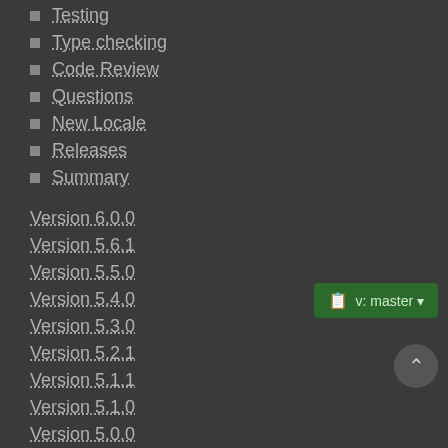Testing
Type checking
Code Review
Questions
New Locale
Releases
Summary
Version 6.0.0
Version 5.6.1
Version 5.5.0
Version 5.4.0
Version 5.3.0
Version 5.2.1
Version 5.1.1
Version 5.1.0
Version 5.0.0
Version 4.1.3
Version 4.1.2